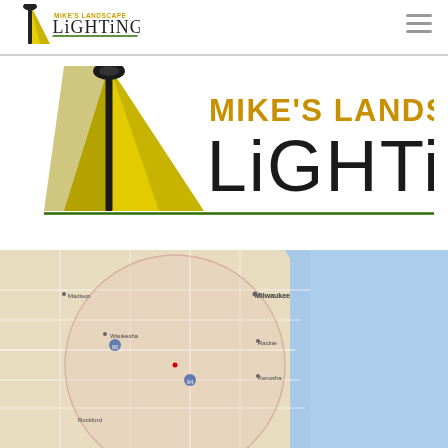Mike's Landscape Lighting - header navigation bar with logo and hamburger menu
[Figure (logo): Mike's Landscape Lighting logo - large version with yellow spotbeam lamp illustration and dark green/yellow text]
[Figure (map): Google Maps view showing southeastern Wisconsin and Lake Michigan service area, with a circular service radius overlay centered near the Milwaukee area]